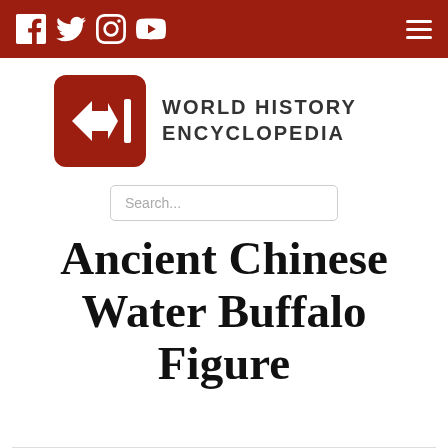World History Encyclopedia — navigation header with social icons (Facebook, Twitter, Instagram, YouTube) and hamburger menu
[Figure (logo): World History Encyclopedia logo: red rounded square with white double-arrow and vertical bar icon, beside bold uppercase text WORLD HISTORY ENCYCLOPEDIA]
Search...
Ancient Chinese Water Buffalo Figure